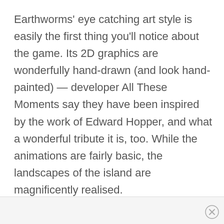Earthworms' eye catching art style is easily the first thing you'll notice about the game. Its 2D graphics are wonderfully hand-drawn (and look hand-painted) — developer All These Moments say they have been inspired by the work of Edward Hopper, and what a wonderful tribute it is, too. While the animations are fairly basic, the landscapes of the island are magnificently realised.